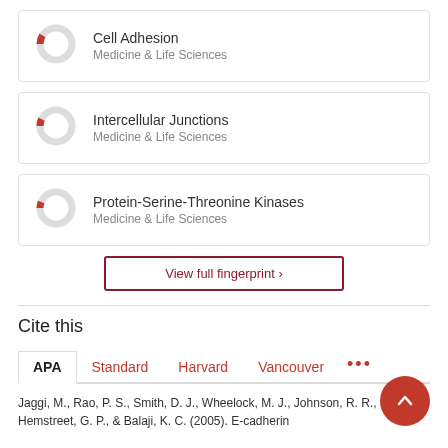[Figure (donut-chart): Donut chart for Cell Adhesion, small red segment indicating partial percentage]
Cell Adhesion
Medicine & Life Sciences
[Figure (donut-chart): Donut chart for Intercellular Junctions, small red segment indicating partial percentage]
Intercellular Junctions
Medicine & Life Sciences
[Figure (donut-chart): Donut chart for Protein-Serine-Threonine Kinases, small red segment indicating partial percentage]
Protein-Serine-Threonine Kinases
Medicine & Life Sciences
View full fingerprint ›
Cite this
APA  Standard  Harvard  Vancouver  ...
Jaggi, M., Rao, P. S., Smith, D. J., Wheelock, M. J., Johnson, R. R., Hemstreet, G. P., & Balaji, K. C. (2005). E-cadherin